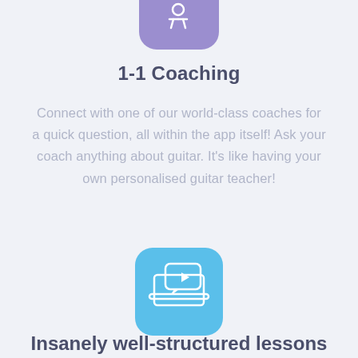[Figure (illustration): Purple rounded square icon with a white coaching/teacher at desk symbol, partially cropped at top]
1-1 Coaching
Connect with one of our world-class coaches for a quick question, all within the app itself! Ask your coach anything about guitar. It's like having your own personalised guitar teacher!
[Figure (illustration): Blue rounded square icon with a white laptop and video/play button symbol]
Insanely well-structured lessons